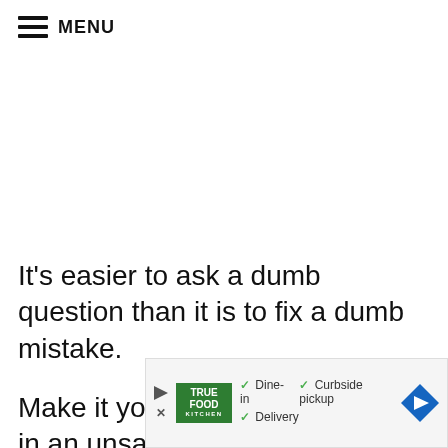MENU
It’s easier to ask a dumb question than it is to fix a dumb mistake.
Make it your mission, not to live in an unsafe cond
[Figure (other): Advertisement overlay for True Food Kitchen showing dine-in, curbside pickup, and delivery options with a blue directional arrow button]